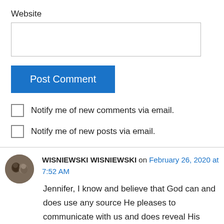Website
[Figure (other): Website text input box (empty)]
[Figure (other): Post Comment button (blue)]
Notify me of new comments via email.
Notify me of new posts via email.
WISNIEWSKI WISNIEWSKI on February 26, 2020 at 7:52 AM
Jennifer, I know and believe that God can and does use any source He pleases to communicate with us and does reveal His message if we are in right relationship to Him